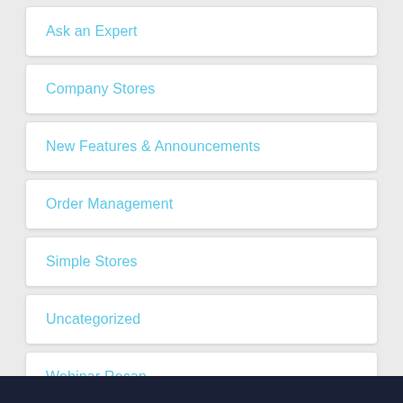Ask an Expert
Company Stores
New Features & Announcements
Order Management
Simple Stores
Uncategorized
Webinar Recap